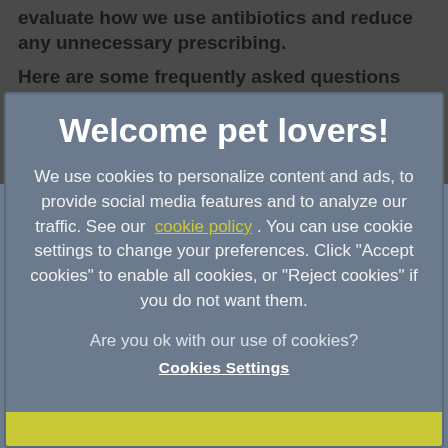evaluate how we use antibiotics and reduce any unnecessary prescribing.
Here are some frequently asked questions that might be on your mind as a pet owner ...
How can we protect the ability of antibiotics to
Welcome pet lovers!
We use cookies to personalize content and ads, to provide social media features and to analyze our traffic. See our cookie policy . You can use cookie settings to change your preferences. Click "Accept cookies" to enable all cookies, or "Reject cookies" if you do not want them.
Are you ok with our use of cookies?
Cookies Settings